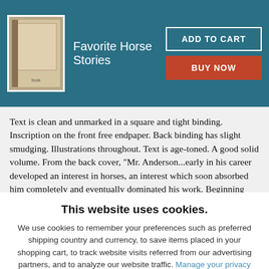[Figure (photo): Book cover thumbnail for Favorite Horse Stories]
Favorite Horse Stories
ADD TO CART
BUY NOW
Text is clean and unmarked in a square and tight binding. Inscription on the front free endpaper. Back binding has slight smudging. Illustrations throughout. Text is age-toned. A good solid volume. From the back cover, "Mr. Anderson...early in his career developed an interest in horses, an interest which soon absorbed him completely and eventually dominated his work. Beginning with drawings and
This website uses cookies.
We use cookies to remember your preferences such as preferred shipping country and currency, to save items placed in your shopping cart, to track website visits referred from our advertising partners, and to analyze our website traffic. Manage your privacy settings.
AGREE AND CLOSE